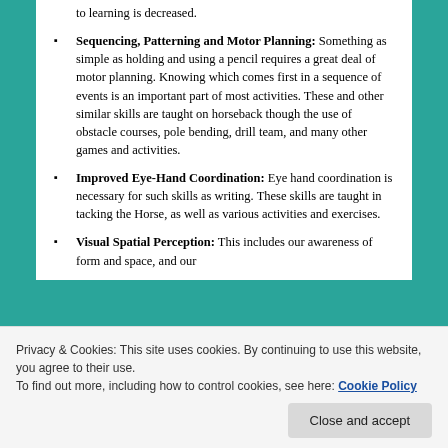to learning is decreased.
Sequencing, Patterning and Motor Planning: Something as simple as holding and using a pencil requires a great deal of motor planning. Knowing which comes first in a sequence of events is an important part of most activities. These and other similar skills are taught on horseback though the use of obstacle courses, pole bending, drill team, and many other games and activities.
Improved Eye-Hand Coordination: Eye hand coordination is necessary for such skills as writing. These skills are taught in tacking the Horse, as well as various activities and exercises.
Visual Spatial Perception: This includes our awareness of form and space, and our
Privacy & Cookies: This site uses cookies. By continuing to use this website, you agree to their use. To find out more, including how to control cookies, see here: Cookie Policy